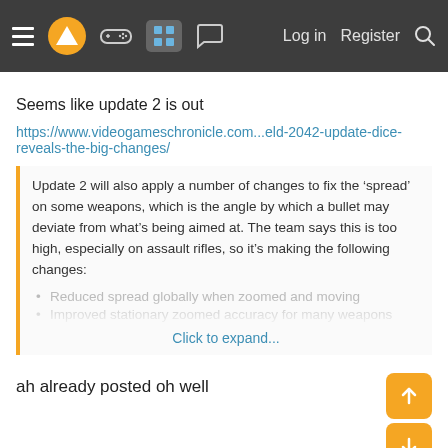Navigation bar with hamburger menu, logo, game controller icon, active grid icon, chat icon, Log in, Register, Search
Seems like update 2 is out
https://www.videogameschronicle.com...eld-2042-update-dice-reveals-the-big-changes/
Update 2 will also apply a number of changes to fix the ‘spread’ on some weapons, which is the angle by which a bullet may deviate from what’s being aimed at. The team says this is too high, especially on assault rifles, so it’s making the following changes:
Reduced spread globally when zoomed and moving
Improved stationary zoomed accuracy for many weapons
Click to expand...
ah already posted oh well
Last edited: Nov 25
EDMIX